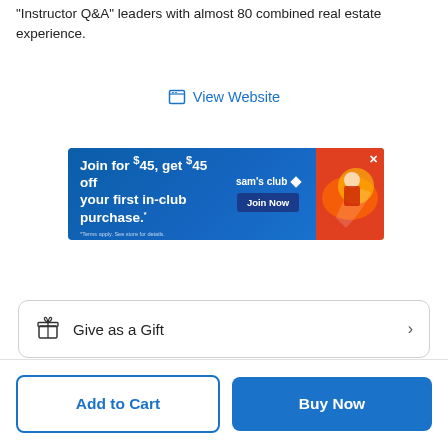"Instructor Q&A" leaders with almost 80 combined real estate experience.
View Website
[Figure (screenshot): Sam's Club advertisement banner: 'Join for $45, get $45 off your first in-club purchase.' with a Join Now button and an action sports image]
Give as a Gift
Add to Cart
Buy Now